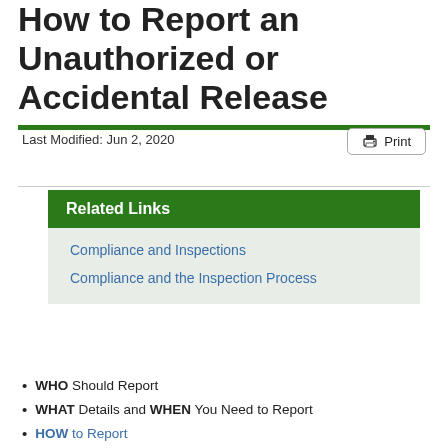How to Report an Unauthorized or Accidental Release
Last Modified: Jun 2, 2020
Related Links
Compliance and Inspections
Compliance and the Inspection Process
WHO Should Report
WHAT Details and WHEN You Need to Report
HOW to Report